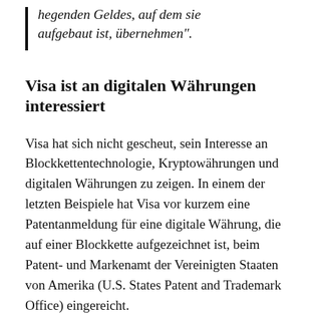hegenden Geldes, auf dem sie aufgebaut ist, übernehmen".
Visa ist an digitalen Währungen interessiert
Visa hat sich nicht gescheut, sein Interesse an Blockkettentechnologie, Kryptowährungen und digitalen Währungen zu zeigen. In einem der letzten Beispiele hat Visa vor kurzem eine Patentanmeldung für eine digitale Währung, die auf einer Blockkette aufgezeichnet ist, beim Patent- und Markenamt der Vereinigten Staaten von Amerika (U.S. States Patent and Trademark Office) eingereicht.